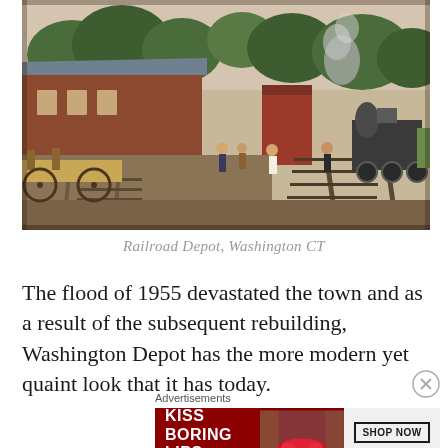[Figure (photo): Historical colorized postcard photograph of a railroad depot station with a steam locomotive approaching on the right track, people standing on the platform, a horse-drawn freight wagon on the left, brick station building, and trees in the background.]
Railroad Depot, Washington CT
The flood of 1955 devastated the town and as a result of the subsequent rebuilding, Washington Depot has the more modern yet quaint look that it has today.